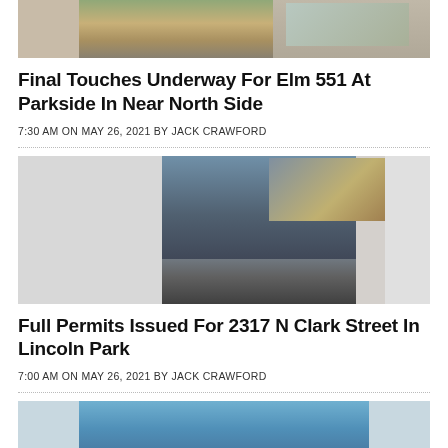[Figure (photo): Partial view of a building rendering, cropped at top of page]
Final Touches Underway For Elm 551 At Parkside In Near North Side
7:30 AM ON MAY 26, 2021 BY JACK CRAWFORD
[Figure (photo): Architectural rendering of a multi-story building (2317 N Clark Street), with an inset street-level photo in the upper right]
Full Permits Issued For 2317 N Clark Street In Lincoln Park
7:00 AM ON MAY 26, 2021 BY JACK CRAWFORD
[Figure (photo): Partial view of another building/construction photo, cropped at bottom of page]